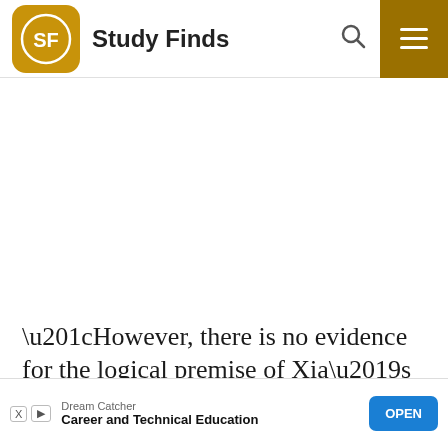Study Finds
“However, there is no evidence for the logical premise of Xia’s argument, considering that all mammals including humans, Pollock and humans share the same theory.
[Figure (screenshot): Advertisement banner: Dream Catcher - Career and Technical Education, with OPEN button]